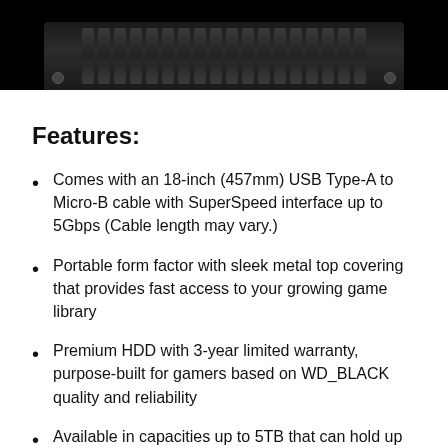[Figure (photo): Top-down view of a WD_BLACK external hard drive with ribbed metal surface and screws in the corners, shown against a black background]
Features:
Comes with an 18-inch (457mm) USB Type-A to Micro-B cable with SuperSpeed interface up to 5Gbps (Cable length may vary.)
Portable form factor with sleek metal top covering that provides fast access to your growing game library
Premium HDD with 3-year limited warranty, purpose-built for gamers based on WD_BLACK quality and reliability
Available in capacities up to 5TB that can hold up to 125 games, so that you can save old favorites and still have room for new titles (Amount for storage capacity varies.)